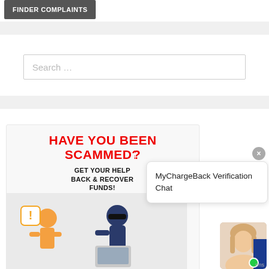[Figure (screenshot): Gray button labeled 'FINDER COMPLAINTS' at top left]
[Figure (screenshot): Search box with placeholder text 'Search ...']
[Figure (infographic): Promotional banner: 'HAVE YOU BEEN SCAMMED? GET YOUR HELP BACK & RECOVER FUNDS!' with illustration of person and scammer]
[Figure (screenshot): MyChargeBack Verification Chat popup overlay with close button, chat avatar with green dot, and 'rms' text]